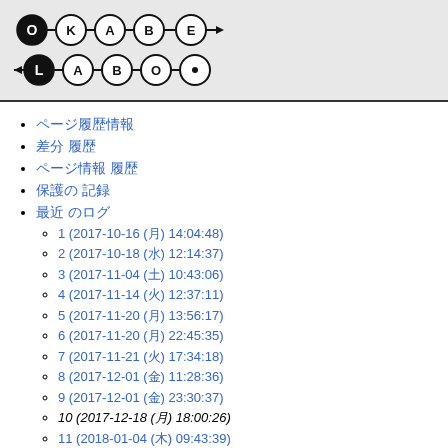[Figure (logo): OKABE LABO logo with circled letters connected by lines and arrows]
ページ履歴情報
差分 履歴
ページ情報 履歴
保護の 記録
最近 のログ
1 (2017-10-16 (月) 14:04:48)
2 (2017-10-18 (水) 12:14:37)
3 (2017-11-04 (土) 10:43:06)
4 (2017-11-14 (火) 12:37:11)
5 (2017-11-20 (月) 13:56:17)
6 (2017-11-20 (月) 22:45:35)
7 (2017-11-21 (火) 17:34:18)
8 (2017-12-01 (金) 11:28:36)
9 (2017-12-01 (金) 23:30:37)
10 (2017-12-18 (月) 18:00:26)
11 (2018-01-04 (木) 09:43:39)
12 (2018-02-09 (金) 14:16:39)
13 (2018-02-27 (火) 20:09:46)